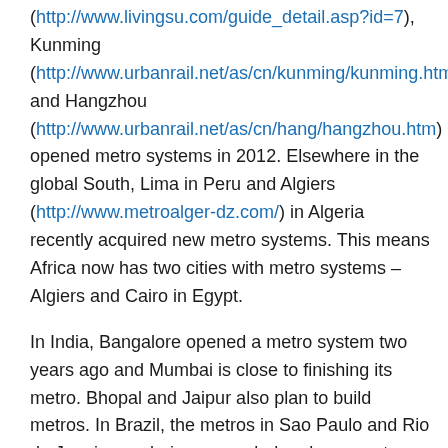(http://www.livingsu.com/guide_detail.asp?id=7), Kunming (http://www.urbanrail.net/as/cn/kunming/kunming.htm) and Hangzhou (http://www.urbanrail.net/as/cn/hang/hangzhou.htm) opened metro systems in 2012. Elsewhere in the global South, Lima in Peru and Algiers (http://www.metroalger-dz.com/) in Algeria recently acquired new metro systems. This means Africa now has two cities with metro systems – Algiers and Cairo in Egypt.
In India, Bangalore opened a metro system two years ago and Mumbai is close to finishing its metro. Bhopal and Jaipur also plan to build metros. In Brazil, the metros in Sao Paulo and Rio de Janeiro are being expanded and new systems are being built in Salvador and Cuiaba. In the Gulf states of the Middle East, Dubai (http://dubaimetro.eu/) opened a system in 2009 and Mecca